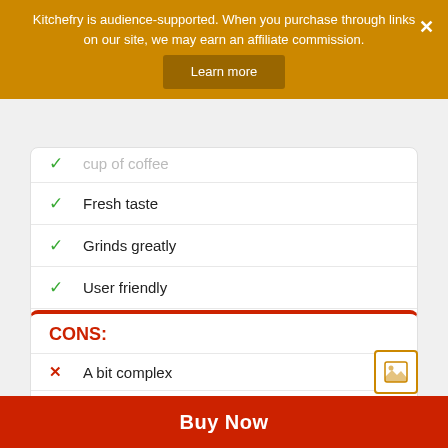Kitchefry is audience-supported. When you purchase through links on our site, we may earn an affiliate commission.
Fresh taste
Grinds greatly
User friendly
Easily controllable
CONS:
A bit complex
Somewhat louder
Buy Now